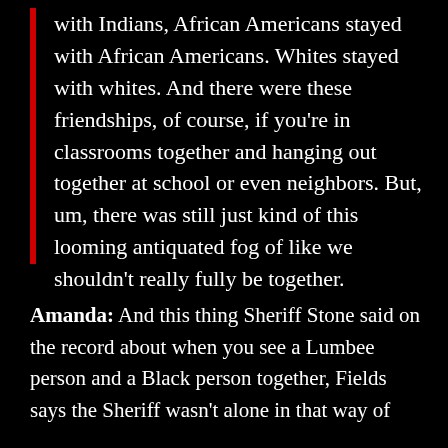with Indians, African Americans stayed with African Americans. Whites stayed with whites. And there were these friendships, of course, if you're in classrooms together and hanging out together at school or even neighbors. But, um, there was still just kind of this looming antiquated fog of like we shouldn't really fully be together.
Amanda: And this thing Sheriff Stone said on the record about when you see a Lumbee person and a Black person together, Fields says the Sheriff wasn't alone in that way of